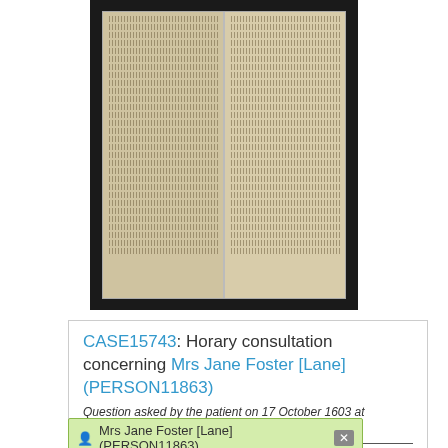[Figure (photo): Photograph of an open manuscript book showing two pages of handwritten historical text in dark ink on aged paper, set against a dark background.]
CASE15743: Horary consultation concerning Mrs Jane Foster [Lane] (PERSON11863)
Question asked by the patient on 17 October 1603 at 10:15
Iane Foster of Hanslop 20 y. Octob. 17 ☽ ho 10 15 a m.
Transcribed excerpt from MS Ashmole 207, f. 148v (bottom right part of page)
Mrs Jane Foster [Lane] (PERSON11863)